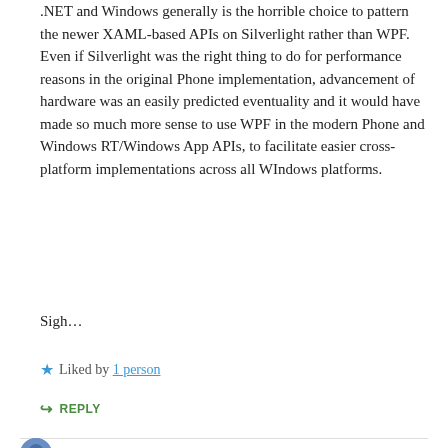.NET and Windows generally is the horrible choice to pattern the newer XAML-based APIs on Silverlight rather than WPF. Even if Silverlight was the right thing to do for performance reasons in the original Phone implementation, advancement of hardware was an easily predicted eventuality and it would have made so much more sense to use WPF in the modern Phone and Windows RT/Windows App APIs, to facilitate easier cross-platform implementations across all WIndows platforms.
Sigh…
Liked by 1 person
REPLY
khyperia